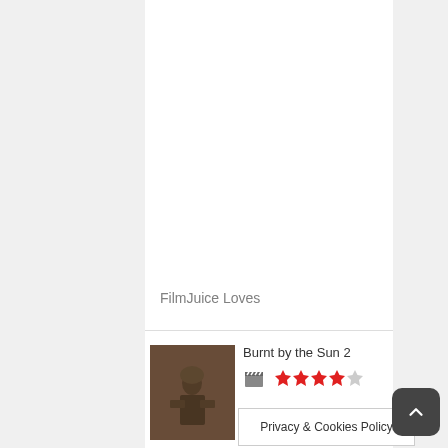FilmJuice Loves
[Figure (photo): Movie still thumbnail for Burnt by the Sun 2 showing a soldier in combat gear]
Burnt by the Sun 2
★★★★☆ (4 out of 5 stars rating with clapperboard icon)
Privacy & Cookies Policy